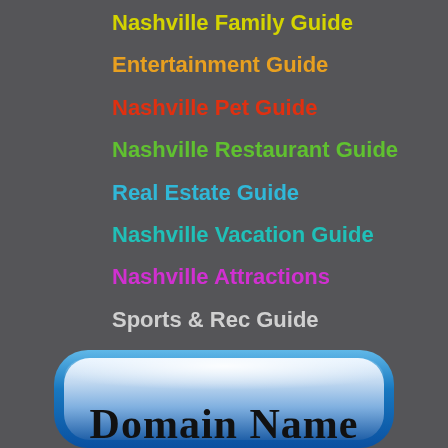Nashville Family Guide
Entertainment Guide
Nashville Pet Guide
Nashville Restaurant Guide
Real Estate Guide
Nashville Vacation Guide
Nashville Attractions
Sports & Rec Guide
[Figure (illustration): Blue rounded button/badge with gradient, containing text 'Domain Name' in a serif font, partially visible at bottom of page]